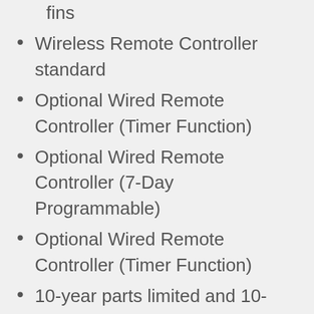fins
Wireless Remote Controller standard
Optional Wired Remote Controller (Timer Function)
Optional Wired Remote Controller (7-Day Programmable)
Optional Wired Remote Controller (Timer Function)
10-year parts limited and 10-year compressor limited warranties to the original purchasing owner upon timely registration
Compatible units: 538PR Single Zone Heat Pump with Basepan Heater, 538TR Mutli Zone Heat Pump with Basepan